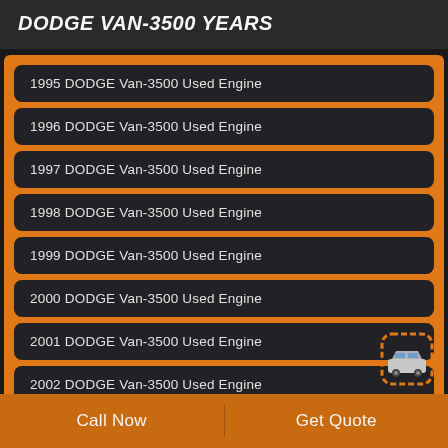DODGE VAN-3500 YEARS
1995 DODGE Van-3500 Used Engine
1996 DODGE Van-3500 Used Engine
1997 DODGE Van-3500 Used Engine
1998 DODGE Van-3500 Used Engine
1999 DODGE Van-3500 Used Engine
2000 DODGE Van-3500 Used Engine
2001 DODGE Van-3500 Used Engine
2002 DODGE Van-3500 Used Engine
2003 DODGE Van-3500 Used Engine
Call Now | Get Quote